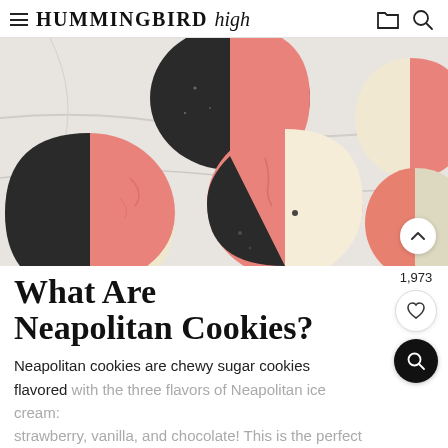HUMMINGBIRD high
[Figure (photo): Overhead photo of Neapolitan cookies on marble surface — cookies have sections of pink/strawberry, black/charcoal, and cream/vanilla colored dough arranged together]
What Are Neapolitan Cookies?
Neapolitan cookies are chewy sugar cookies flavored with the three flavors of Neapolitan ice cream: strawberry, vanilla, and chocolate! This is the perfect
1,973